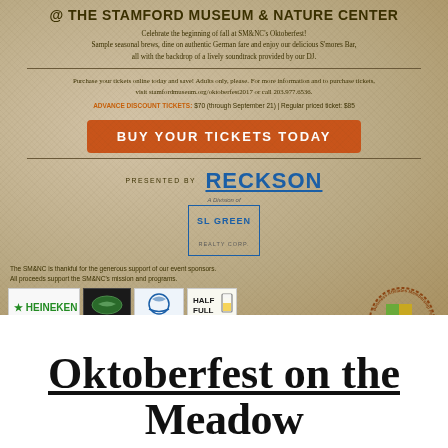@ THE STAMFORD MUSEUM & NATURE CENTER
Celebrate the beginning of fall at SM&NC's Oktoberfest! Sample seasonal brews, dine on authentic German fare and enjoy our delicious S'mores Bar, all with the backdrop of a lively soundtrack provided by our DJ.
Purchase your tickets online today and save! Adults only, please. For more information and to purchase tickets, visit stamfordmuseum.org/oktoberfest2017 or call 203.977.6536.
ADVANCE DISCOUNT TICKETS: $70 (through September 21) | Regular priced ticket: $85
BUY YOUR TICKETS TODAY
PRESENTED BY RECKSON — A Division of SL GREEN REALTY CORP.
The SM&NC is thankful for the generous support of our event sponsors. All proceeds support the SM&NC's mission and programs.
[Figure (logo): Sponsor logos: Heineken, Adventures (dark background with fish), K.P. Events Group, Half Full, and Business Affiliates Membership Program - Stamford Museum & Nature Center]
Oktoberfest on the Meadow